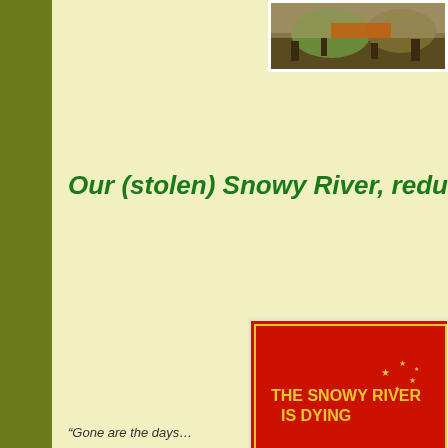[Figure (photo): A landscape/nature photo appearing at the top right of the page, likely showing a bushfire or outback scenery.]
Our (stolen) Snowy River, reduc
[Figure (illustration): A protest poster with red background and yellow illustration showing hands and river imagery with text 'THE SNOWY RIVER IS DYING' and 'LET IT FLOW']
“Gone are the days...